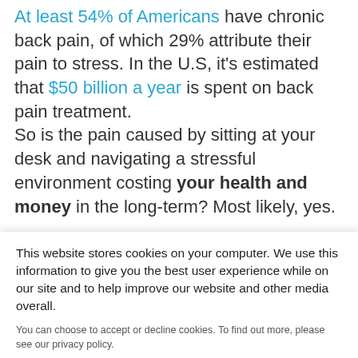At least 54% of Americans have chronic back pain, of which 29% attribute their pain to stress. In the U.S, it's estimated that $50 billion a year is spent on back pain treatment. So is the pain caused by sitting at your desk and navigating a stressful environment costing your health and money in the long-term? Most likely, yes. A way to combat the risk of pain is to implement...
This website stores cookies on your computer. We use this information to give you the best user experience while on our site and to help improve our website and other media overall. You can choose to accept or decline cookies. To find out more, please see our privacy policy.